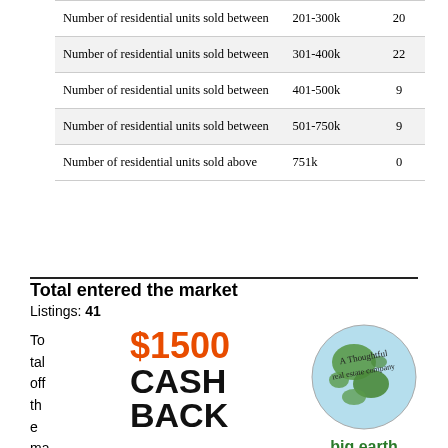|  |  |  |
| --- | --- | --- |
| Number of residential units sold between | 201-300k | 20 |
| Number of residential units sold between | 301-400k | 22 |
| Number of residential units sold between | 401-500k | 9 |
| Number of residential units sold between | 501-750k | 9 |
| Number of residential units sold above | 751k | 0 |
Total entered the market
Listings: 41
Total off the ma
$1500 CASH BACK
[Figure (logo): Big Earth real estate company globe logo with text 'A Thoughtful real estate company' and 'big earth' below]